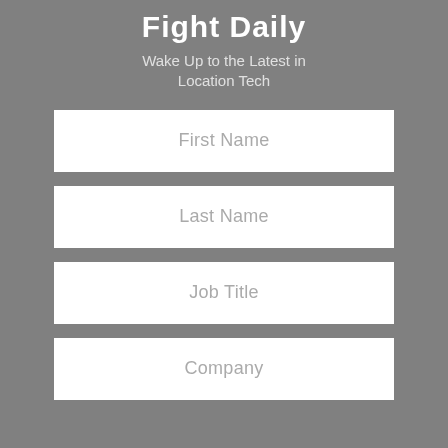Fight Daily
Wake Up to the Latest in Location Tech
First Name
Last Name
Job Title
Company